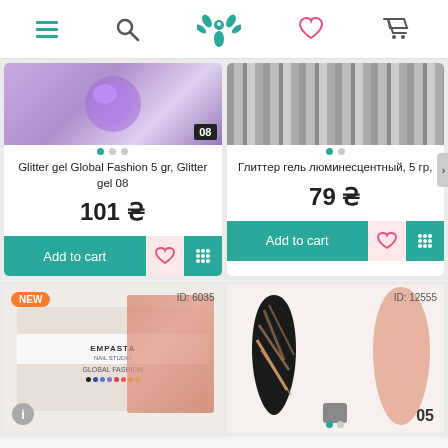Navigation bar with menu, search, logo, wishlist, cart icons
[Figure (screenshot): Glitter gel Global Fashion product image with purple glitter, badge 08, dot indicators]
Glitter gel Global Fashion 5 gr, Glitter gel 08
101 ₴
Add to cart
[Figure (screenshot): Глиттер гель люминесцентный product image with grey stripes, dot indicators]
Глиттер гель люминесцентный, 5 гр,
79 ₴
Add to cart
[Figure (screenshot): NEW badge product card, ID: 6035, Empasta Global Fashion product image]
[Figure (screenshot): Product card ID: 12555, nail art swatches image with badge 05]